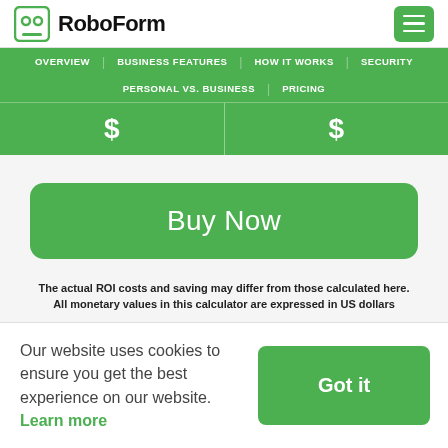RoboForm
OVERVIEW | BUSINESS FEATURES | HOW IT WORKS | SECURITY | PERSONAL VS. BUSINESS | PRICING
| $ | $ |
| --- | --- |
Buy Now
The actual ROI costs and saving may differ from those calculated here. All monetary values in this calculator are expressed in US dollars
Our website uses cookies to ensure you get the best experience on our website. Learn more
Got it